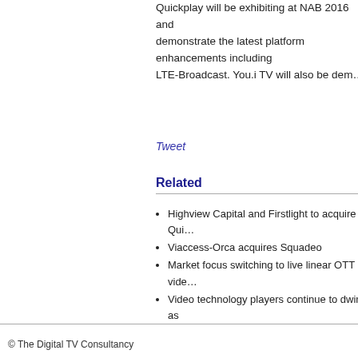Quickplay will be exhibiting at NAB 2016 and demonstrate the latest platform enhancements including LTE-Broadcast. You.i TV will also be dem…
Tweet
Related
Highview Capital and Firstlight to acquire Qui…
Viaccess-Orca acquires Squadeo
Market focus switching to live linear OTT vide…
Video technology players continue to dwindle as ownership desires surge
ABI Research forecasts a flat video software … 2021
SKYCABLE deploys Squadeo video player and security in the Philippines
© The Digital TV Consultancy